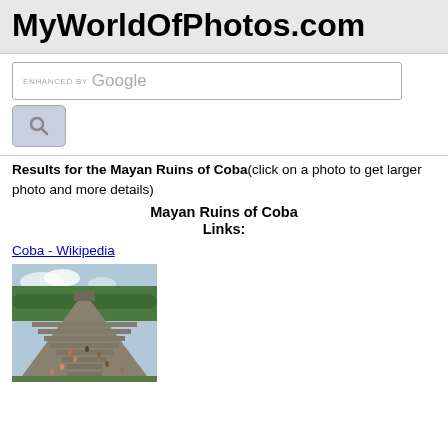MyWorldOfPhotos.com
[Figure (screenshot): Google search box with 'ENHANCED BY Google' text and a search button with magnifying glass icon]
Results for the Mayan Ruins of Coba(click on a photo to get larger photo and more details)
Mayan Ruins of Coba
Links:
Coba - Wikipedia
[Figure (photo): Photo of Mayan ruins of Coba showing a steep stone pyramid with people climbing the steps, surrounded by green trees]